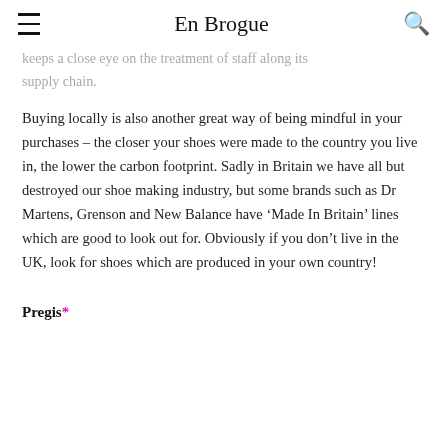En Brogue
keeps a close eye on the treatment of staff along its supply chain.
Buying locally is also another great way of being mindful in your purchases – the closer your shoes were made to the country you live in, the lower the carbon footprint. Sadly in Britain we have all but destroyed our shoe making industry, but some brands such as Dr Martens, Grenson and New Balance have ‘Made In Britain’ lines which are good to look out for. Obviously if you don’t live in the UK, look for shoes which are produced in your own country!
Pregis*